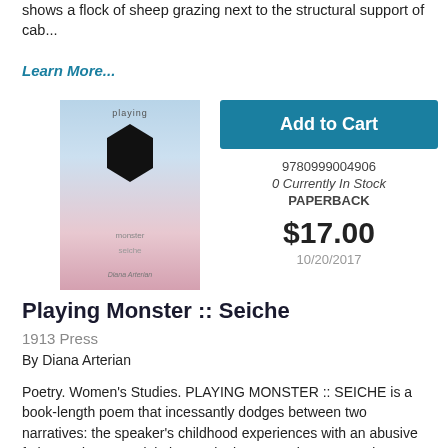shows a flock of sheep grazing next to the structural support of cab...
Learn More...
[Figure (photo): Book cover of Playing Monster :: Seiche with a pastel blue, white and pink background featuring a large black geometric hexagon shape in the center]
Add to Cart
9780999004906
0 Currently In Stock
PAPERBACK
$17.00
10/20/2017
Playing Monster :: Seiche
1913 Press
By Diana Arterian
Poetry. Women's Studies. PLAYING MONSTER :: SEICHE is a book-length poem that incessantly dodges between two narratives: the speaker's childhood experiences with an abusive father and, as an adult, increasingly aggressive acts made toward her mother...